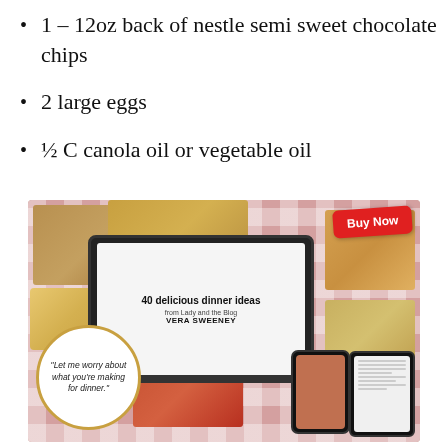1 – 12oz back of nestle semi sweet chocolate chips
2 large eggs
½ C canola oil or vegetable oil
[Figure (illustration): Advertisement image for '40 delicious dinner ideas from Lady and the Blog by Vera Sweeney' showing a laptop mockup on a red gingham background with food photos, a 'Buy Now' red badge, a circle quote saying 'Let me worry about what you're making for dinner.' and phone/tablet device mockups.]